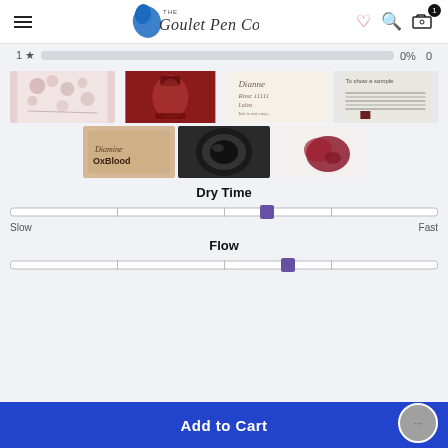The Goulet Pen Co. — navigation header with hamburger menu, logo, heart, search, and cart icons
1 ★  0%  0
[Figure (photo): Gallery of 7 product photos showing fountain pen ink (Diamine Oxblood) — cherry blossom writing, ink bottle, handwriting samples, ink swatches, wooden block with 'Diamine Oxblood' text, ink in cup, red ink drop on paper]
Dry Time
[Figure (infographic): Dry Time slider from Slow to Fast with purple thumb positioned slightly past center toward Fast]
Flow
[Figure (infographic): Flow slider with purple thumb positioned slightly past center toward right]
Add to Cart